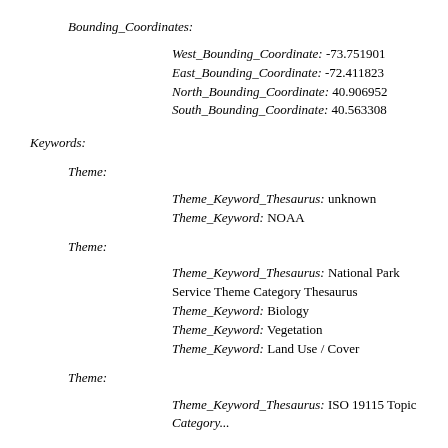Bounding_Coordinates:
West_Bounding_Coordinate: -73.751901
East_Bounding_Coordinate: -72.411823
North_Bounding_Coordinate: 40.906952
South_Bounding_Coordinate: 40.563308
Keywords:
Theme:
Theme_Keyword_Thesaurus: unknown
Theme_Keyword: NOAA
Theme:
Theme_Keyword_Thesaurus: National Park Service Theme Category Thesaurus
Theme_Keyword: Biology
Theme_Keyword: Vegetation
Theme_Keyword: Land Use / Cover
Theme:
Theme_Keyword_Thesaurus: ISO 19115 Topic Category